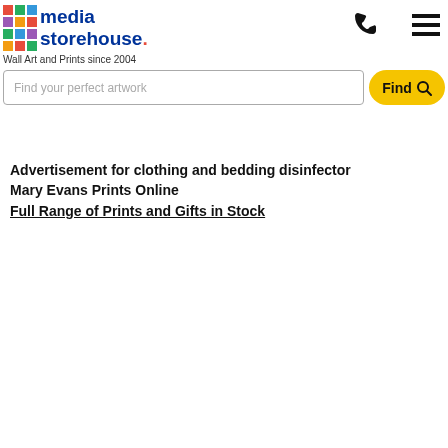media storehouse. Wall Art and Prints since 2004
Find your perfect artwork
Advertisement for clothing and bedding disinfector
Mary Evans Prints Online
Full Range of Prints and Gifts in Stock